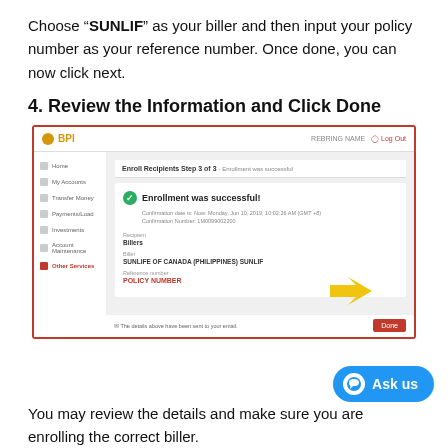Choose “SUNLIF” as your biller and then input your policy number as your reference number. Once done, you can now click next.
4. Review the Information and Click Done
[Figure (screenshot): Screenshot of BPI online banking showing Enroll Recipients Step 3 of 3 - Enrollment was successful, with biller SUNLIFE OF CANADA (PHILIPPINES) SUNLIF and reference number shown as POLICY NUMBER in red, with a Done button and yellow arrow pointing to it.]
You may review the details and make sure you are enrolling the correct biller.